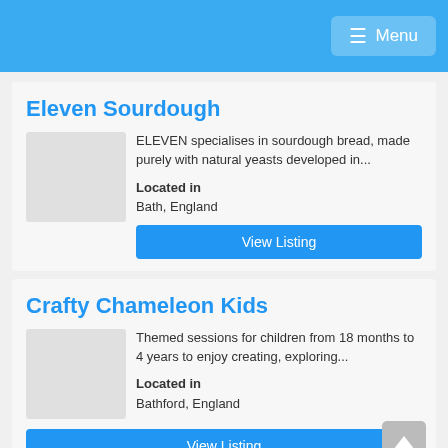Menu
Eleven Sourdough
ELEVEN specialises in sourdough bread, made purely with natural yeasts developed in...
Located in
Bath, England
View Listing
Crafty Chameleon Kids
Themed sessions for children from 18 months to 4 years to enjoy creating, exploring...
Located in
Bathford, England
View Listing